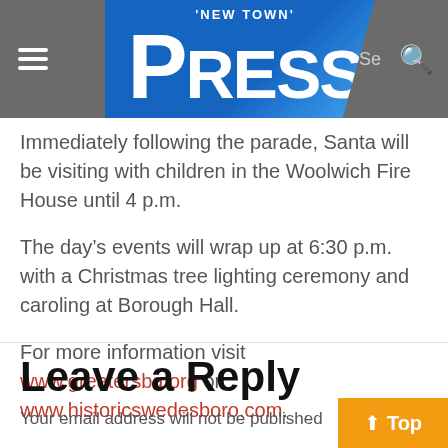'New Town' Press
Immediately following the parade, Santa will be visiting with children in the Woolwich Fire House until 4 p.m.
The day’s events will wrap up at 6:30 p.m. with a Christmas tree lighting ceremony and caroling at Borough Hall.
For more information visit www.greatersba.org or www.historicswedesboro.com.
Leave a Reply
Your email address will not be published.